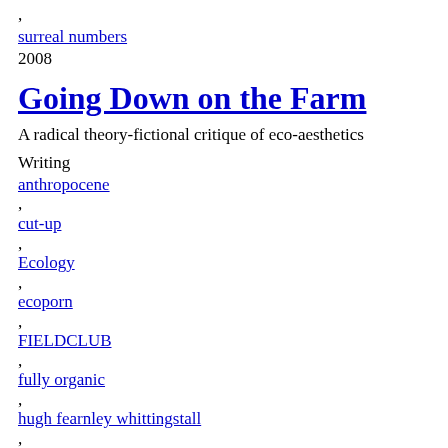, surreal numbers 2008
Going Down on the Farm
A radical theory-fictional critique of eco-aesthetics
Writing
anthropocene
cut-up
Ecology
ecoporn
FIELDCLUB
fully organic
hugh fearnley whittingstall
pornmanteau